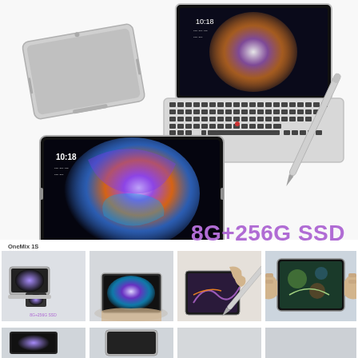[Figure (photo): Product photo collage of OneMix 1S mini laptop/tablet showing closed silver device, open laptop with keyboard and stylus pen, and tablet mode with colorful swirl wallpaper screen]
8G+256G SSD
OneMix 1S
[Figure (photo): Thumbnail showing OneMix 1S in multiple angles including laptop and phone-like modes]
[Figure (photo): Thumbnail showing laptop open in tablet/tent mode on a hand]
[Figure (photo): Thumbnail showing stylus pen drawing on the touchscreen]
[Figure (photo): Thumbnail showing gaming on the tablet touchscreen]
8G+256G SSD
[Figure (photo): Bottom row thumbnail 1: mini laptop open]
[Figure (photo): Bottom row thumbnail 2: device closed]
[Figure (photo): Bottom row thumbnail 3: (partial)]
[Figure (photo): Bottom row thumbnail 4: (partial)]